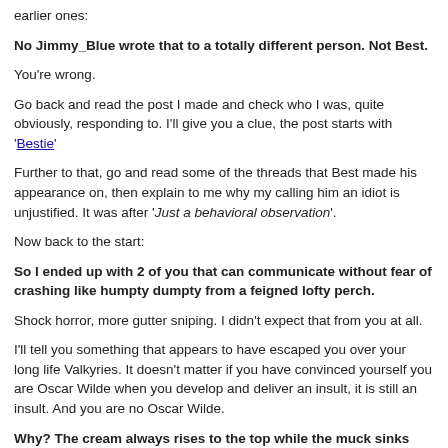earlier ones:
No Jimmy_Blue wrote that to a totally different person. Not Best.
You're wrong.
Go back and read the post I made and check who I was, quite obviously, responding to. I'll give you a clue, the post starts with 'Bestie'
Further to that, go and read some of the threads that Best made his appearance on, then explain to me why my calling him an idiot is unjustified. It was after 'Just a behavioral observation'.
Now back to the start:
So I ended up with 2 of you that can communicate without fear of crashing like humpty dumpty from a feigned lofty perch.
Shock horror, more gutter sniping. I didn't expect that from you at all.
I'll tell you something that appears to have escaped you over your long life Valkyries. It doesn't matter if you have convinced yourself you are Oscar Wilde when you develop and deliver an insult, it is still an insult. And you are no Oscar Wilde.
Why? The cream always rises to the top while the muck sinks with the stone.